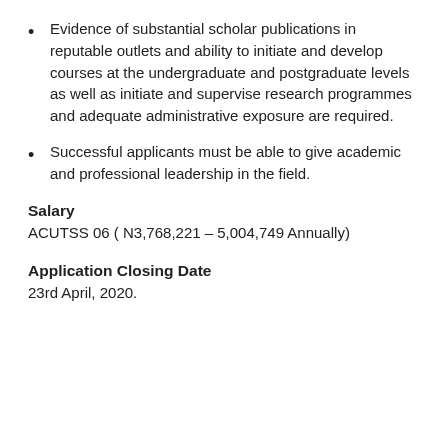Evidence of substantial scholar publications in reputable outlets and ability to initiate and develop courses at the undergraduate and postgraduate levels as well as initiate and supervise research programmes and adequate administrative exposure are required.
Successful applicants must be able to give academic and professional leadership in the field.
Salary
ACUTSS 06 ( N3,768,221 – 5,004,749 Annually)
Application Closing Date
23rd April, 2020.